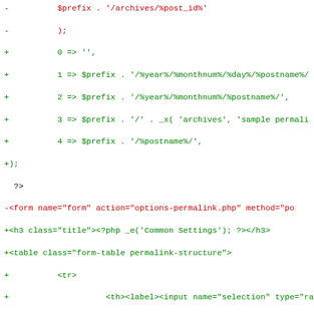[Figure (screenshot): A code diff snippet showing PHP/HTML code changes. Red lines (prefixed with -) show removed code, green lines (prefixed with +) show added code. The diff includes permalink structure array entries and HTML form/table markup.]